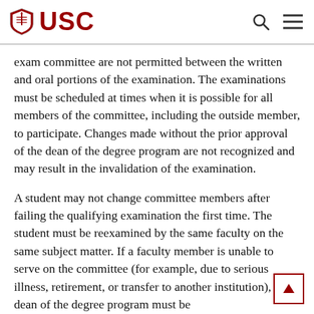USC
exam committee are not permitted between the written and oral portions of the examination. The examinations must be scheduled at times when it is possible for all members of the committee, including the outside member, to participate. Changes made without the prior approval of the dean of the degree program are not recognized and may result in the invalidation of the examination.
A student may not change committee members after failing the qualifying examination the first time. The student must be reexamined by the same faculty on the same subject matter. If a faculty member is unable to serve on the committee (for example, due to serious illness, retirement, or transfer to another institution), the dean of the degree program must be